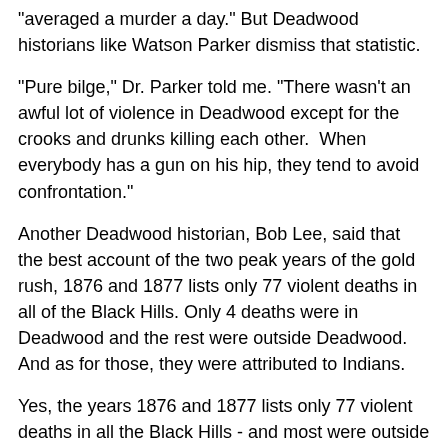"averaged a murder a day." But Deadwood historians like Watson Parker dismiss that statistic.
"Pure bilge," Dr. Parker told me. "There wasn't an awful lot of violence in Deadwood except for the crooks and drunks killing each other.  When everybody has a gun on his hip, they tend to avoid confrontation."
Another Deadwood historian, Bob Lee, said that the best account of the two peak years of the gold rush, 1876 and 1877 lists only 77 violent deaths in all of the Black Hills. Only 4 deaths were in Deadwood and the rest were outside Deadwood. And as for those, they were attributed to Indians.
Yes, the years 1876 and 1877 lists only 77 violent deaths in all the Black Hills - and most were outside of Deadwood. Research shows that the town of Deadwood only had 7 homicides in 1876. That's it, only 7! Try comparing that with the city you live in now, then ask yourself if the town of Deadwood was really that violent at all?
It's no wonder this new generation doesn't know a great